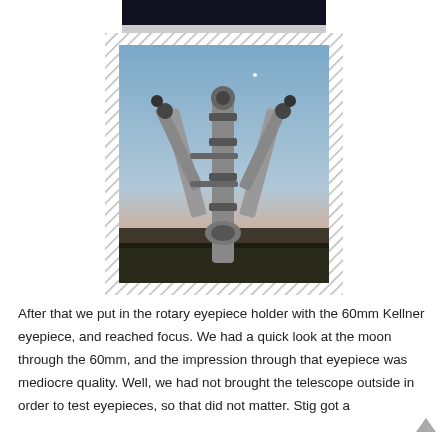[Figure (photo): Top strip of a dark/black image cropped at the top of the page]
[Figure (photo): Photo of multiple telescopes mounted together on a pole pointing upward against a twilight sky with trees in the background. Hatched/diagonal patterned border surrounds the photo.]
After that we put in the rotary eyepiece holder with the 60mm Kellner eyepiece, and reached focus. We had a quick look at the moon through the 60mm, and the impression through that eyepiece was mediocre quality. Well, we had not brought the telescope outside in order to test eyepieces, so that did not matter. Stig got a